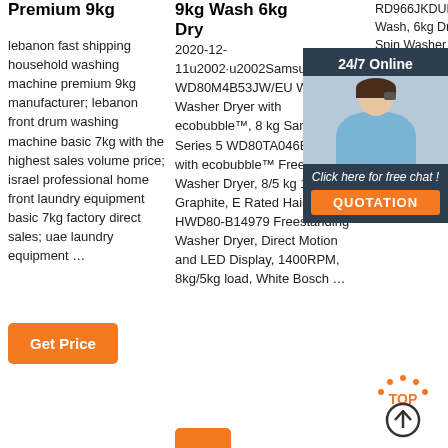Premium 9kg
lebanon fast shipping household washing machine premium 9kg manufacturer; lebanon front drum washing machine basic 7kg with the highest sales volume price; israel professional home front laundry equipment basic 7kg factory direct sales; uae laundry equipment …
Get Price
9kg Wash 6kg Dry
2020-12-11u2002·u2002Samsung WD80M4B53JW/EU WD4000 Washer Dryer with ecobubble™, 8 kg Samsung Series 5 WD80TA046BX/EU with ecobubble™ Freestanding Washer Dryer, 8/5 kg 1400 rpm, Graphite, E Rated Haier HWD80-B14979 Freestanding Washer Dryer, Direct Motion and LED Display, 1400RPM, 8kg/5kg load, White Bosch …
RD966JKDUKN 9kg Wash, 6kg Dry, 1600 Spin Washer Dryer - Black. £649.99. £529.99 (Save £1 Stock. (3 4 ★ 3. 3 1.
Get Pr...
24/7 Online
Click here for free chat !
QUOTATION